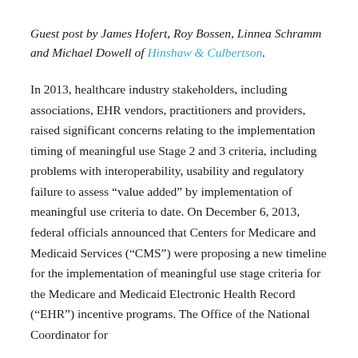Guest post by James Hofert, Roy Bossen, Linnea Schramm and Michael Dowell of Hinshaw & Culbertson.
In 2013, healthcare industry stakeholders, including associations, EHR vendors, practitioners and providers, raised significant concerns relating to the implementation timing of meaningful use Stage 2 and 3 criteria, including problems with interoperability, usability and regulatory failure to assess “value added” by implementation of meaningful use criteria to date. On December 6, 2013, federal officials announced that Centers for Medicare and Medicaid Services (“CMS”) were proposing a new timeline for the implementation of meaningful use stage criteria for the Medicare and Medicaid Electronic Health Record (“EHR”) incentive programs. The Office of the National Coordinator for